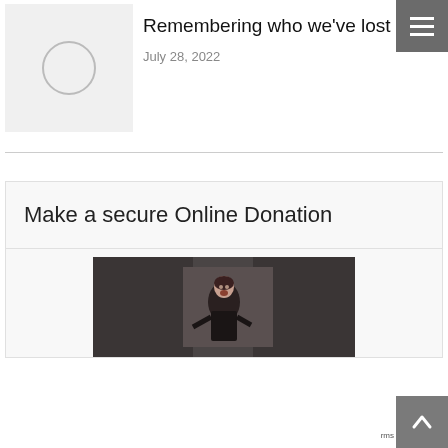[Figure (illustration): Website navigation hamburger menu button (grey square with three white horizontal lines) in top right corner]
[Figure (photo): Grey placeholder thumbnail image with a circle outline, representing an article thumbnail]
Remembering who we've lost
July 28, 2022
Make a secure Online Donation
[Figure (photo): A woman performing or singing on stage, photograph with dark background]